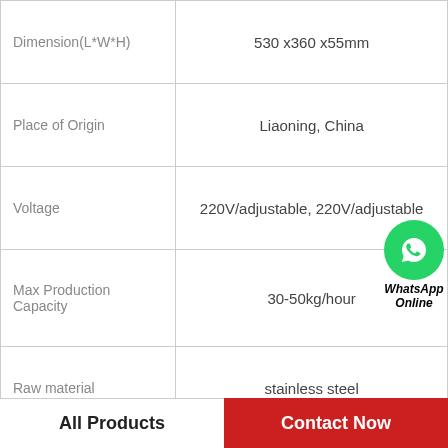| Property | Value |
| --- | --- |
| Dimension(L*W*H) | 530 x360 x55mm |
| Place of Origin | Liaoning, China |
| Voltage | 220V/adjustable, 220V/adjustable |
| Max Production Capacity | 30-50kg/hour |
| Raw material | stainless steel |
| Material | automatic |
| Application | soft sugar food |
| Stirring Speed | 21.6r/min |
[Figure (logo): WhatsApp Online badge with green circle phone icon and italic bold text 'WhatsApp Online']
All Products   Contact Now